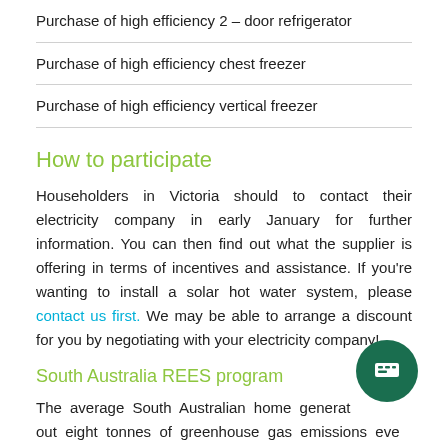Purchase of high efficiency 2 – door refrigerator
Purchase of high efficiency chest freezer
Purchase of high efficiency vertical freezer
How to participate
Householders in Victoria should to contact their electricity company in early January for further information. You can then find out what the supplier is offering in terms of incentives and assistance. If you're wanting to install a solar hot water system, please contact us first. We may be able to arrange a discount for you by negotiating with your electricity company!
South Australia REES program
The average South Australian home generates about eight tonnes of greenhouse gas emissions every year.
South Australian households will be able to lower their energy bills and help reduce greenhouse emissions at